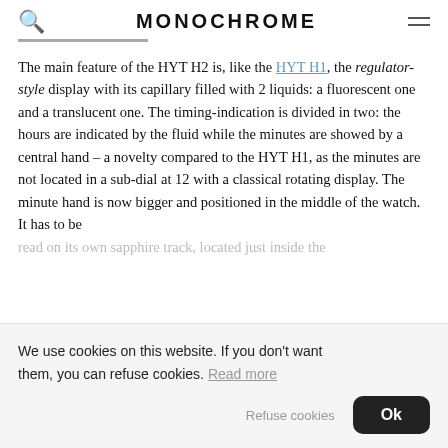MONOCHROME
The main feature of the HYT H2 is, like the HYT H1, the regulator-style display with its capillary filled with 2 liquids: a fluorescent one and a translucent one. The timing-indication is divided in two: the hours are indicated by the fluid while the minutes are showed by a central hand – a novelty compared to the HYT H1, as the minutes are not located in a sub-dial at 12 with a classical rotating display. The minute hand is now bigger and positioned in the middle of the watch. It has to be read on its own sapphire track, located just inside the
We use cookies on this website. If you don't want them, you can refuse cookies. Read more